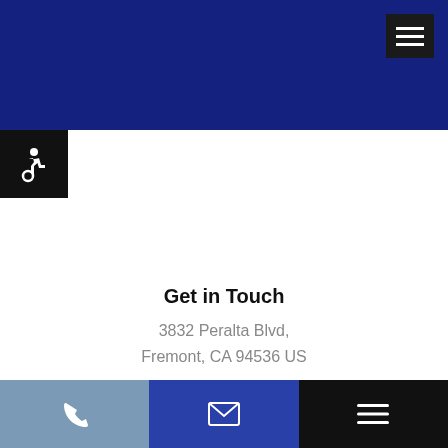[Figure (photo): Top blue hero banner background with dark blue overlay, hamburger menu icon in top right corner]
[Figure (logo): Newark Pet Clinic logo — geometric blue mountain/envelope shape on left, business name text on right]
Get in Touch
3832 Peralta Blvd,
Fremont, CA 94536 US
(510) 796-7555
[Figure (infographic): Bottom navigation bar with three sections: phone icon (steel blue), email icon (blue), hamburger menu icon (black)]